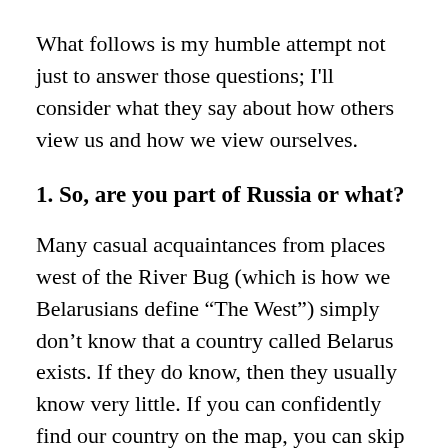What follows is my humble attempt not just to answer those questions; I'll consider what they say about how others view us and how we view ourselves.
1. So, are you part of Russia or what?
Many casual acquaintances from places west of the River Bug (which is how we Belarusians define “The West”) simply don’t know that a country called Belarus exists. If they do know, then they usually know very little. If you can confidently find our country on the map, you can skip this part or re-read it to enlighten your friends who still have blind spots in their knowledge of European geography.
Why do so few people know about Belarus? First of all, good old human laziness plays its part, along with an unwillingness to delve into the complexities and realities of a immense territory that is often defined in the EU and US as the “post-Soviet space.” We might wonder why some